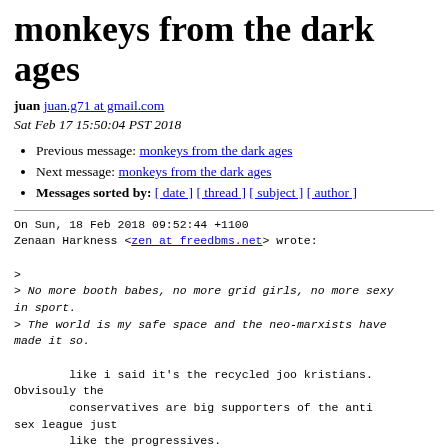monkeys from the dark ages
juan juan.g71 at gmail.com
Sat Feb 17 15:50:04 PST 2018
Previous message: monkeys from the dark ages
Next message: monkeys from the dark ages
Messages sorted by: [ date ] [ thread ] [ subject ] [ author ]
On Sun, 18 Feb 2018 09:52:44 +1100
Zenaan Harkness <zen at freedbms.net> wrote:

>
> No more booth babes, no more grid girls, no more sexy in sport.
> The world is my safe space and the neo-marxists have made it so.

        like i said it's the recycled joo kristians. Obvisouly the
        conservatives are big supporters of the anti sex league just
        like the progressives.
> You are NOT an individual, you are a member of a